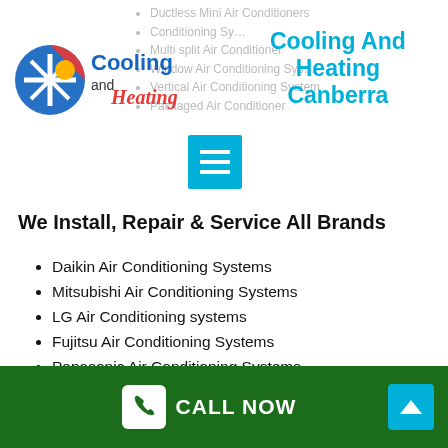Ductless Mini Air Conditioners
Conditioning Sy…
Multi split Air Conditioner
Window Air Conditioning Sys…
Vertical Air Conditioning System
Packaged Air Conditioner
[Figure (logo): Cooling and Heating logo with snowflake and sun icons]
Cooling And Heating Canberra
[Figure (other): Hamburger menu button in cyan]
We Install, Repair & Service All Brands
Daikin Air Conditioning Systems
Mitsubishi Air Conditioning Systems
LG Air Conditioning systems
Fujitsu Air Conditioning Systems
Panasonic Air Conditioning Systems
Toshiba Air Conditioning Systems
Carrier Air Conditioning Systems
CALL NOW